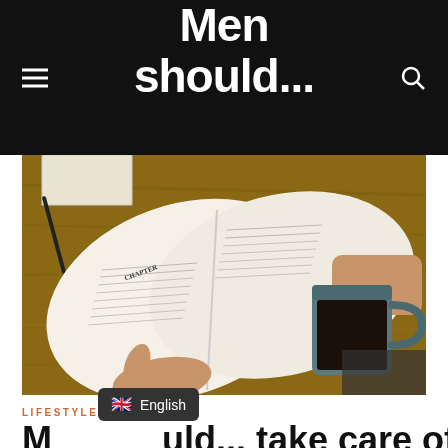Men should...
[Figure (photo): Overhead view of a man reading an open book at a wooden table, with a dark mug of coffee beside him and a pen/notepad in the background]
LIFESTYLE
Men should... take care of
[Figure (screenshot): Language selector badge showing UK flag and text 'English']